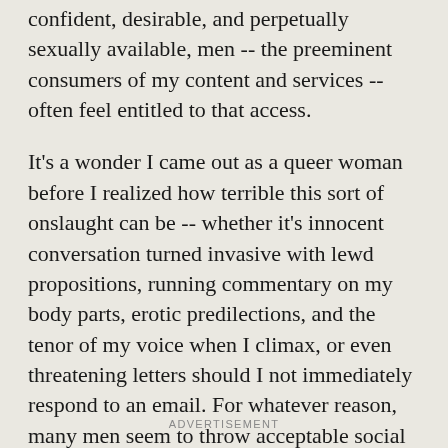confident, desirable, and perpetually sexually available, men -- the preeminent consumers of my content and services -- often feel entitled to that access.
It's a wonder I came out as a queer woman before I realized how terrible this sort of onslaught can be -- whether it's innocent conversation turned invasive with lewd propositions, running commentary on my body parts, erotic predilections, and the tenor of my voice when I climax, or even threatening letters should I not immediately respond to an email. For whatever reason, many men seem to throw acceptable social boundaries out the window when it comes to sex workers.
ADVERTISEMENT